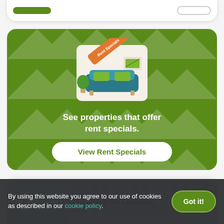[Figure (screenshot): Partial top card with two buttons — a green filled button and an outlined button]
[Figure (illustration): Green promotional card with rent specials illustration showing a couch scene, text 'See properties that offer rent specials.' and a 'View Rent Specials' button]
See properties that offer rent specials.
View Rent Specials
[Figure (photo): Bottom property card showing 'Top Rated for Location' with a building photo, play button and heart/favourite button]
Top Rated for Location
By using this website you agree to our use of cookies as described in our cookie policy.
Got it!